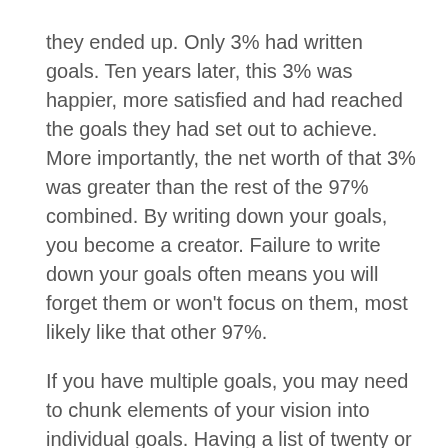they ended up. Only 3% had written goals. Ten years later, this 3% was happier, more satisfied and had reached the goals they had set out to achieve. More importantly, the net worth of that 3% was greater than the rest of the 97% combined. By writing down your goals, you become a creator. Failure to write down your goals often means you will forget them or won't focus on them, most likely like that other 97%.
If you have multiple goals, you may need to chunk elements of your vision into individual goals. Having a list of twenty or thirty objectives can be hard to keep track of and even more difficult to focus on. Chunking involves grouping “like” items